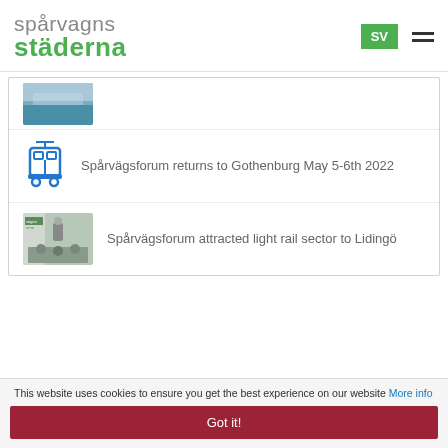[Figure (logo): Spårvagnsstäderna logo — 'spårvagns' in grey, 'städerna' in green]
SV
[Figure (illustration): Thumbnail image of water/canal scene]
[Figure (illustration): Blue tram icon]
Spårvägsforum returns to Gothenburg May 5-6th 2022
[Figure (photo): Thumbnail of Spårvägsforum event with audience and speaker]
Spårvägsforum attracted light rail sector to Lidingö
This website uses cookies to ensure you get the best experience on our website More info
Got it!